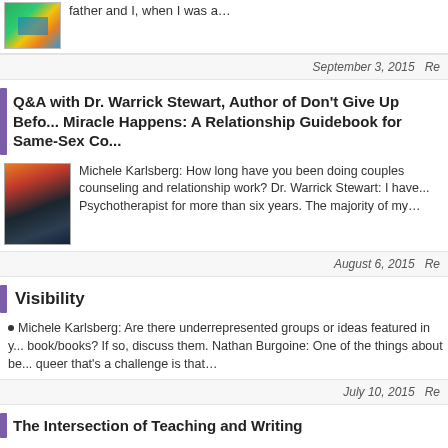[Figure (illustration): Small book cover thumbnail with colorful design]
father and I, when I was a...
September 3, 2015   Re...
Q&A with Dr. Warrick Stewart, Author of Don't Give Up Before the Miracle Happens: A Relationship Guidebook for Same-Sex Co...
[Figure (photo): Book cover showing two figures on a pier at sunset]
Michele Karlsberg: How long have you been doing couples counseling and relationship work? Dr. Warrick Stewart: I have been a Psychotherapist for more than six years. The majority of my...
August 6, 2015   Re...
Visibility
Michele Karlsberg: Are there underrepresented groups or ideas featured in your book/books? If so, discuss them. Nathan Burgoine: One of the things about being queer that's a challenge is that…
July 10, 2015   Re...
The Intersection of Teaching and Writing